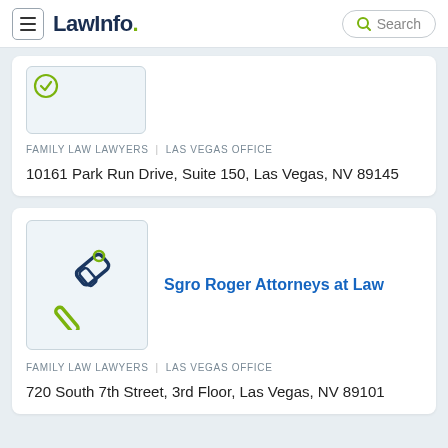LawInfo. Search
[Figure (logo): Partially visible law firm logo card with green checkmark icon, light blue background]
FAMILY LAW LAWYERS  |  LAS VEGAS OFFICE
10161 Park Run Drive, Suite 150, Las Vegas, NV 89145
[Figure (logo): Sgro Roger Attorneys at Law logo — gavel icon in dark blue and green]
Sgro Roger Attorneys at Law
FAMILY LAW LAWYERS  |  LAS VEGAS OFFICE
720 South 7th Street, 3rd Floor, Las Vegas, NV 89101